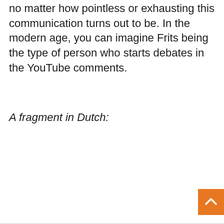no matter how pointless or exhausting this communication turns out to be. In the modern age, you can imagine Frits being the type of person who starts debates in the YouTube comments.
A fragment in Dutch: